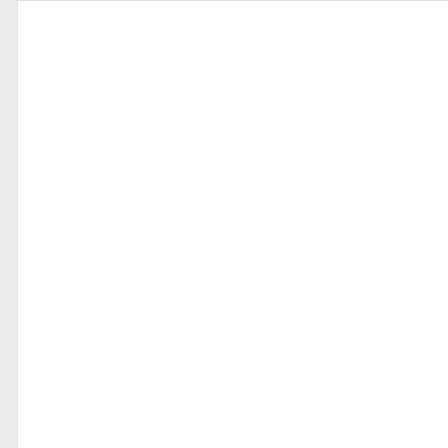[Figure (screenshot): A white textarea form field (empty, with resize handle at bottom right)]
Name *
[Figure (screenshot): Empty text input field for Name]
Email *
[Figure (screenshot): Empty text input field for Email]
[Figure (screenshot): Red scroll-to-top button with upward arrow icon]
0.14%   Ethereum(ETH)  $1,554.97  ↓  -0.28%   Tether(USDT)  $